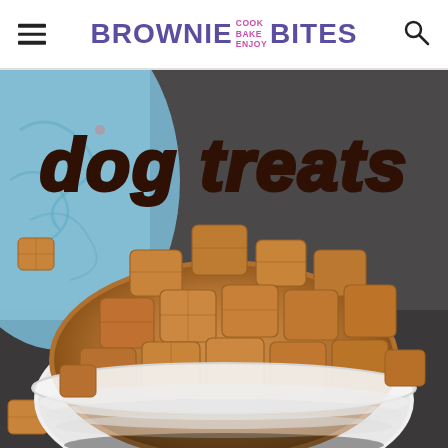BROWNIE COOK BAKE ENJOY BITES
[Figure (photo): Close-up photo of homemade dog treats — golden-brown square biscuits piled in a white ceramic bowl, with a blue patterned cloth in the background on a dark gray surface. Text overlay reads 'dog treats' in large dark brown italic lettering.]